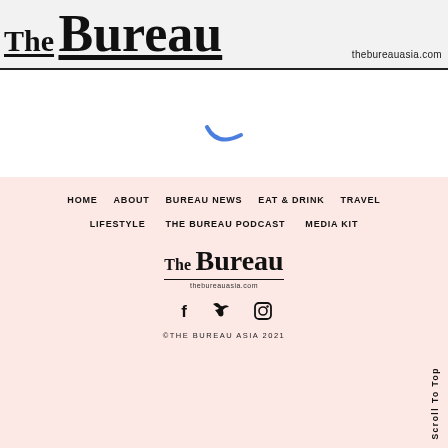The Bureau thebureauasia.com
[Figure (other): Blue loading spinner arc indicator]
HOME
ABOUT
BUREAU NEWS
EAT & DRINK
TRAVEL
LIFESTYLE
THE BUREAU PODCAST
MEDIA KIT
[Figure (logo): The Bureau logo with thebureauasia.com URL]
[Figure (other): Social media icons: Facebook, Twitter, Instagram]
©THE BUREAU ASIA 2021